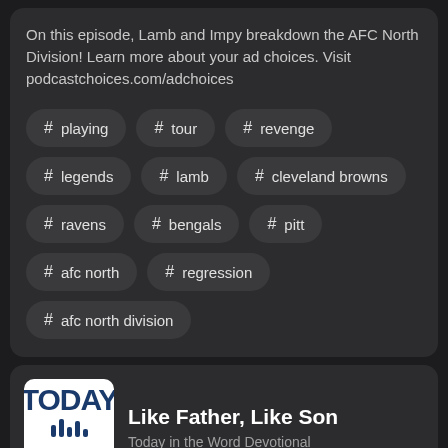On this episode, Lamb and Impy breakdown the AFC North Division! Learn more about your ad choices. Visit podcastchoices.com/adchoices
# playing
# tour
# revenge
# legends
# lamb
# cleveland browns
# ravens
# bengals
# pitt
# afc north
# regression
# afc north division
Like Father, Like Son
Today in the Word Devotional